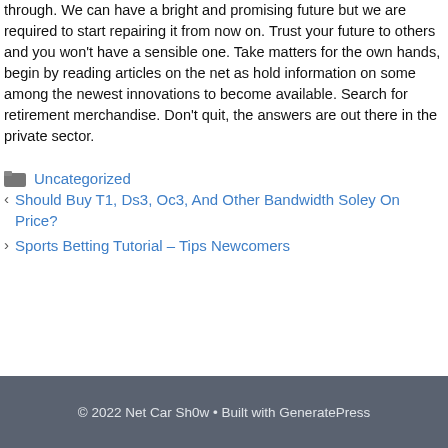through. We can have a bright and promising future but we are required to start repairing it from now on. Trust your future to others and you won't have a sensible one. Take matters for the own hands, begin by reading articles on the net as hold information on some among the newest innovations to become available. Search for retirement merchandise. Don't quit, the answers are out there in the private sector.
Uncategorized
Should Buy T1, Ds3, Oc3, And Other Bandwidth Soley On Price?
Sports Betting Tutorial – Tips Newcomers
© 2022 Net Car Sh0w • Built with GeneratePress